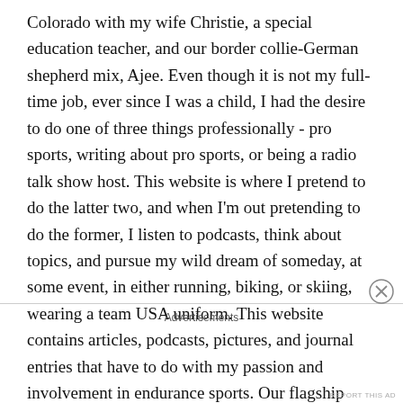Colorado with my wife Christie, a special education teacher, and our border collie-German shepherd mix, Ajee. Even though it is not my full-time job, ever since I was a child, I had the desire to do one of three things professionally - pro sports, writing about pro sports, or being a radio talk show host. This website is where I pretend to do the latter two, and when I'm out pretending to do the former, I listen to podcasts, think about topics, and pursue my wild dream of someday, at some event, in either running, biking, or skiing, wearing a team USA uniform. This website contains articles, podcasts, pictures, and journal entries that have to do with my passion and involvement in endurance sports. Our flagship project is the Seder
Advertisements